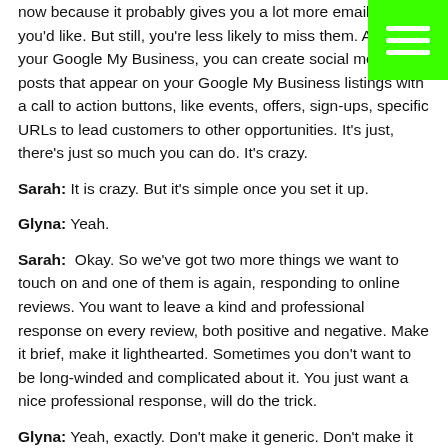now because it probably gives you a lot more emails than you'd like. But still, you're less likely to miss them. Also on your Google My Business, you can create social media posts that appear on your Google My Business listings with a call to action buttons, like events, offers, sign-ups, specific URLs to lead customers to other opportunities. It's just, there's just so much you can do. It's crazy.
Sarah: It is crazy. But it's simple once you set it up.
Glyna: Yeah.
Sarah: Okay. So we've got two more things we want to touch on and one of them is again, responding to online reviews. You want to leave a kind and professional response on every review, both positive and negative. Make it brief, make it lighthearted. Sometimes you don't want to be long-winded and complicated about it. You just want a nice professional response, will do the trick.
Glyna: Yeah, exactly. Don't make it generic. Don't make it